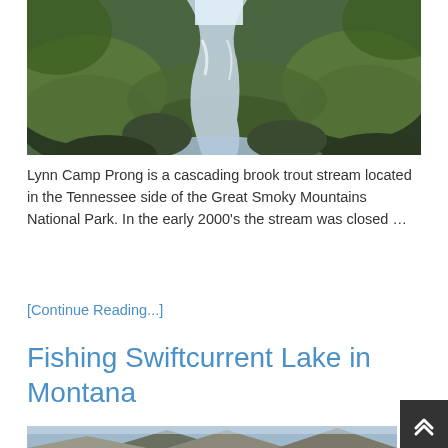[Figure (photo): Cascading brook stream with moss-covered rocks and waterfall, Lynn Camp Prong, Great Smoky Mountains National Park]
Lynn Camp Prong is a cascading brook trout stream located in the Tennessee side of the Great Smoky Mountains National Park. In the early 2000's the stream was closed …
[Continue Reading...]
Fishing Swiftcurrent Lake in Montana
[Figure (photo): Mountain landscape with rocky peak and cloudy sky, Swiftcurrent Lake in Montana]